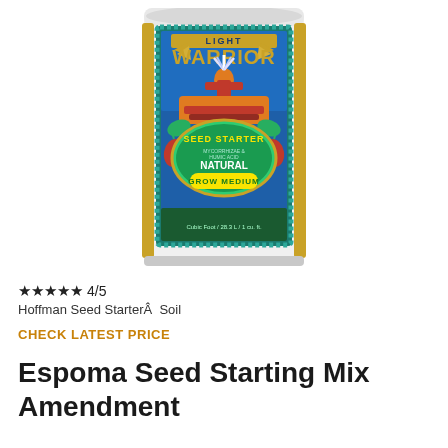[Figure (photo): Product bag of FoxFarm Light Warrior Seed Starter natural grow medium, featuring colorful warrior artwork on teal/blue background with orange and red accents, white bag top]
★★★★★ 4/5
Hoffman Seed Starter  Soil
CHECK LATEST PRICE
Espoma Seed Starting Mix Amendment